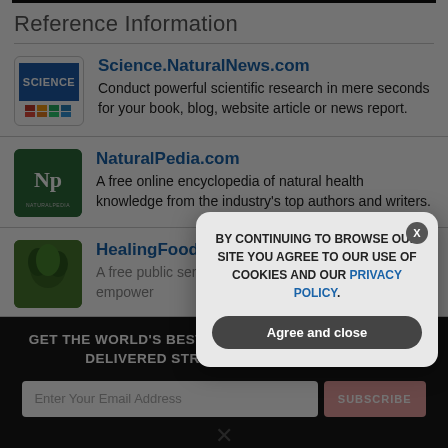Reference Information
Science.NaturalNews.com — Conduct powerful scientific research in mere seconds for your book, blog, website article or news report.
NaturalPedia.com — A free online encyclopedia of natural health knowledge from the industry's top authors and writers.
HealingFoodReference.com — A free public service to promote health freedom and empower...
GET THE WORLD'S BEST NATURAL HEALTH NEWSLETTER DELIVERED STRAIGHT TO YOUR INBOX
BY CONTINUING TO BROWSE OUR SITE YOU AGREE TO OUR USE OF COOKIES AND OUR PRIVACY POLICY.
Agree and close